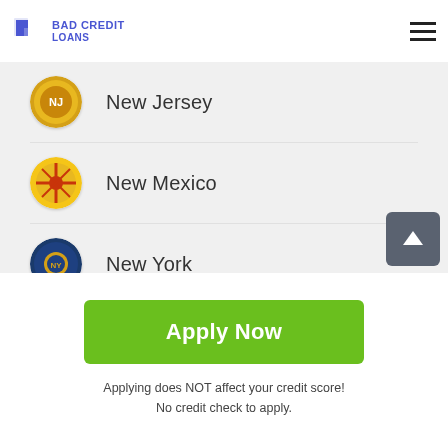Bad Credit Loans
New Jersey
New Mexico
New York
North Carolina
North Dakota
Apply Now
Applying does NOT affect your credit score! No credit check to apply.